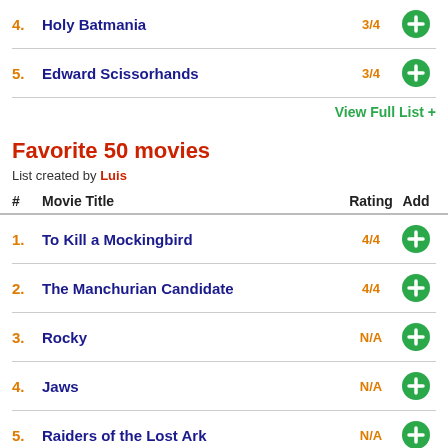4. Holy Batmania — 3/4
5. Edward Scissorhands — 3/4
View Full List +
Favorite 50 movies
List created by Luis
| # | Movie Title | Rating | Add |
| --- | --- | --- | --- |
| 1. | To Kill a Mockingbird | 4/4 |  |
| 2. | The Manchurian Candidate | 4/4 |  |
| 3. | Rocky | N/A |  |
| 4. | Jaws | N/A |  |
| 5. | Raiders of the Lost Ark | N/A |  |